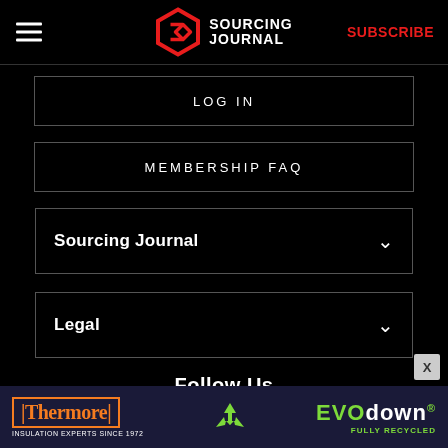Sourcing Journal — SUBSCRIBE
LOG IN
MEMBERSHIP FAQ
Sourcing Journal
Legal
Follow Us
[Figure (other): Social media icons row: Facebook, Twitter, Instagram, LinkedIn]
[Figure (other): Thermore EVO down advertisement banner: orange Thermore logo with text 'INSULATION EXPERTS SINCE 1972', green EVO down logo with recycling icon and 'FULLY RECYCLED' text]